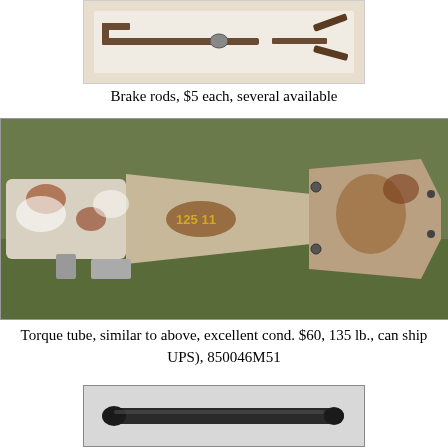[Figure (photo): Brake rod — a long thin metal rod with a forked end, rusty, shown on white background]
Brake rods, $5 each, several available
[Figure (photo): Torque tube — a large rusty metal tube/axle housing, white and rust colored, with number 125-11 painted in yellow, lying on grass/dirt ground]
Torque tube, similar to above, excellent cond. $60, 135 lb., can ship UPS), 850046M51
[Figure (photo): A dark metal cylindrical bolt or rod, shown on white/grey background]